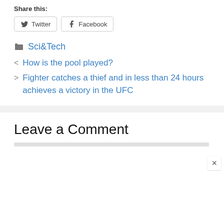Share this:
Twitter  Facebook
Sci&Tech
< How is the pool played?
> Fighter catches a thief and in less than 24 hours achieves a victory in the UFC
Leave a Comment